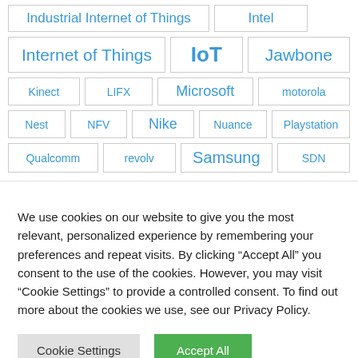Industrial Internet of Things
Intel
Internet of Things
IoT
Jawbone
Kinect
LIFX
Microsoft
motorola
Nest
NFV
Nike
Nuance
Playstation
Qualcomm
revolv
Samsung
SDN
We use cookies on our website to give you the most relevant, personalized experience by remembering your preferences and repeat visits. By clicking “Accept All” you consent to the use of the cookies. However, you may visit “Cookie Settings” to provide a controlled consent. To find out more about the cookies we use, see our Privacy Policy.
Cookie Settings
Accept All